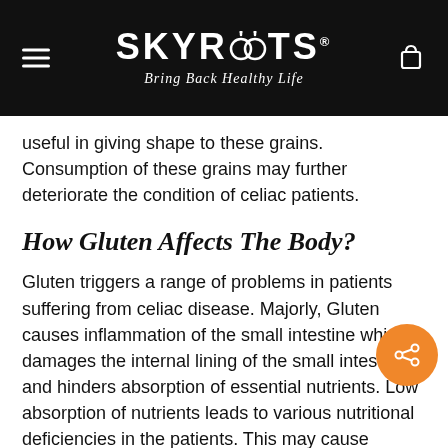SKYROOTS — Bring Back Healthy Life
useful in giving shape to these grains. Consumption of these grains may further deteriorate the condition of celiac patients.
How Gluten Affects The Body?
Gluten triggers a range of problems in patients suffering from celiac disease. Majorly, Gluten causes inflammation of the small intestine which damages the internal lining of the small intestine and hinders absorption of essential nutrients. Low absorption of nutrients leads to various nutritional deficiencies in the patients. This may cause problems in normal